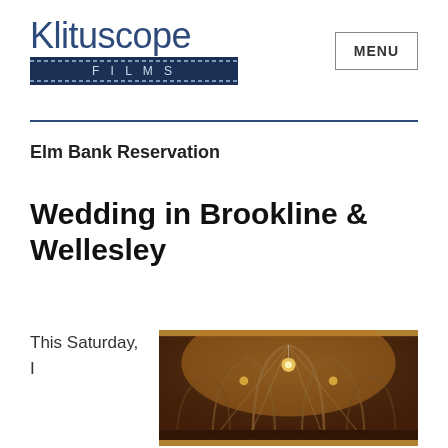[Figure (logo): Klituscope Films logo: large blue text 'Klituscope' above a dark navy banner with dotted borders reading 'FILMS']
MENU
Elm Bank Reservation
Wedding in Brookline & Wellesley
This Saturday, I
[Figure (photo): Interior of a Gothic-style church with vaulted arched ceiling and warm chandelier lighting]